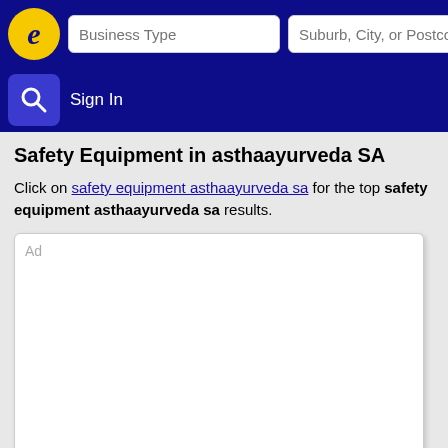Business Type | Suburb, City, or Postcode | Sign In
Safety Equipment in asthaayurveda SA
Click on safety equipment asthaayurveda sa for the top safety equipment asthaayurveda sa results.
[Figure (other): Ad placeholder box]